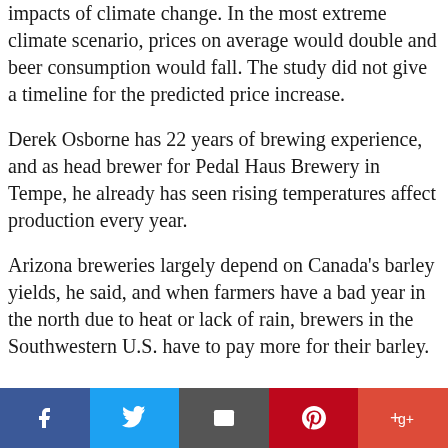impacts of climate change. In the most extreme climate scenario, prices on average would double and beer consumption would fall. The study did not give a timeline for the predicted price increase.
Derek Osborne has 22 years of brewing experience, and as head brewer for Pedal Haus Brewery in Tempe, he already has seen rising temperatures affect production every year.
Arizona breweries largely depend on Canada's barley yields, he said, and when farmers have a bad year in the north due to heat or lack of rain, brewers in the Southwestern U.S. have to pay more for their barley.
[Figure (other): Social sharing buttons bar: Facebook (blue), Twitter (light blue), Email (dark gray), Pinterest (red), Google Plus (red-orange)]